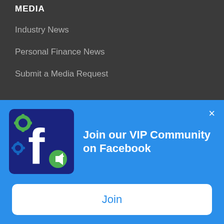MEDIA
Industry News
Personal Finance News
Submit a Media Request
CONNECT WITH US
Meet Our Team
Contact XYPN
Careers
[Figure (screenshot): Facebook VIP Community popup banner with green gear icon, Facebook logo, megaphone icon, text 'Join our VIP Community on Facebook', a close X button, and a white 'Join' button below.]